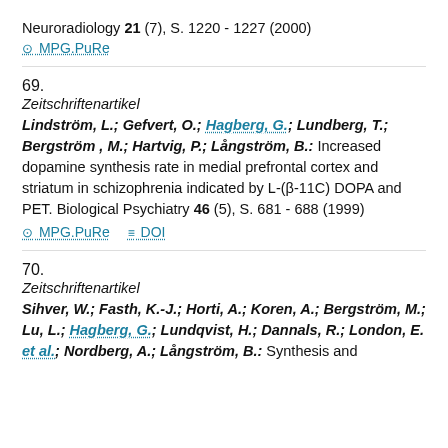Neuroradiology 21 (7), S. 1220 - 1227 (2000)
⊙ MPG.PuRe
69.
Zeitschriftenartikel
Lindström, L.; Gefvert, O.; Hagberg, G.; Lundberg, T.; Bergström , M.; Hartvig, P.; Långström, B.: Increased dopamine synthesis rate in medial prefrontal cortex and striatum in schizophrenia indicated by L-(β-11C) DOPA and PET. Biological Psychiatry 46 (5), S. 681 - 688 (1999)
⊙ MPG.PuRe  ≡ DOI
70.
Zeitschriftenartikel
Sihver, W.; Fasth, K.-J.; Horti, A.; Koren, A.; Bergström, M.; Lu, L.; Hagberg, G.; Lundqvist, H.; Dannals, R.; London, E. et al.; Nordberg, A.; Långström, B.: Synthesis and